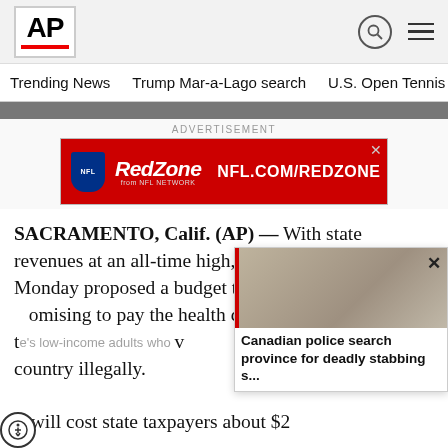AP
Trending News
Trump Mar-a-Lago search
U.S. Open Tennis
[Figure (other): NFL RedZone advertisement banner - red background with NFL shield logo, RedZone NFL Network text, and NFL.COM/REDZONE URL]
SACRAMENTO, Calif. (AP) — With state revenues at an all-time high, California Gov. Gavin Monday proposed a budget that wo a promising to pay the health ca t e's low-income adults who v country illegally.
It will cost state taxpayers about $2
Canadian police search province for deadly stabbing s...